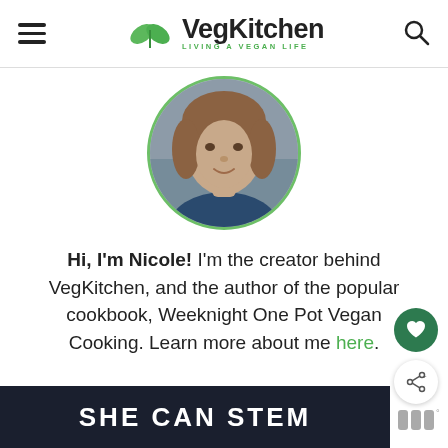VegKitchen — LIVING A VEGAN LIFE
[Figure (photo): Circular profile photo of Nicole, a woman with wavy brown hair wearing a navy blue shirt, framed with a green circle border.]
Hi, I'm Nicole! I'm the creator behind VegKitchen, and the author of the popular cookbook, Weeknight One Pot Vegan Cooking. Learn more about me here.
[Figure (other): Dark banner at the bottom with text SHE CAN STEM in bold white uppercase letters, and a logo on the right.]